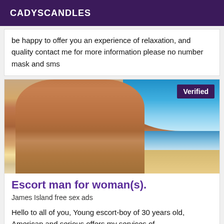CADYSCANDLES
be happy to offer you an experience of relaxation, and quality contact me for more information please no number mask and sms
[Figure (photo): Photo of a man's torso on a beach, shirtless and fit, with a Verified badge in the top right corner]
Escort man for woman(s).
James Island free sex ads
Hello to all of you, Young escort-boy of 30 years old, American and serious offers my services of